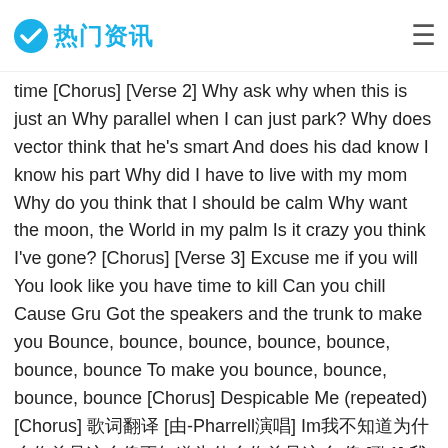热门资讯
time [Chorus] [Verse 2] Why ask why when this is just an Why parallel when I can just park? Why does vector think that he's smart And does his dad know I know his part Why did I have to live with my mom Why do you think that I should be calm Why want the moon, the World in my palm Is it crazy you think I've gone? [Chorus] [Verse 3] Excuse me if you will You look like you have time to kill Can you chill Cause Gru Got the speakers and the trunk to make you Bounce, bounce, bounce, bounce, bounce, bounce, bounce To make you bounce, bounce, bounce, bounce [Chorus] Despicable Me (repeated) [Chorus] 歌词翻译 [由-Pharrell演唱] Im我 不 知道 为什么 你总是 这么 傻 不 知道 为什么你总是这么 傻 [歌1] 我不知道为什么你总是这么x傻 我不知道为什么hott 我 不 知道为什么你总是这么傻 我不知道为什么你总是这么傻 我不知道为什么你总是这么傻 我不知道为什么你总是这么傻 我不知道 [合] [歌2]